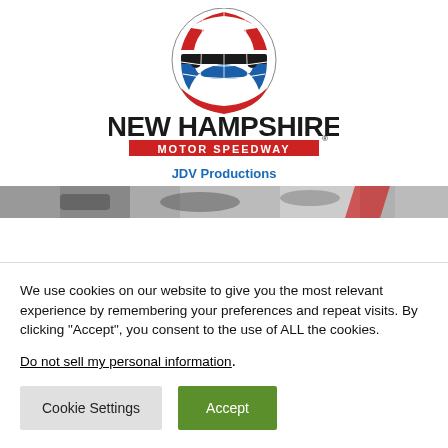[Figure (logo): New Hampshire Motor Speedway logo with circular globe-top emblem and large bold text 'NEW HAMPSHIRE' above a red banner reading 'MOTOR SPEEDWAY']
JDV Productions
[Figure (photo): Partial view of racing cars on a speedway track]
We use cookies on our website to give you the most relevant experience by remembering your preferences and repeat visits. By clicking “Accept”, you consent to the use of ALL the cookies.
Do not sell my personal information.
Cookie Settings
Accept